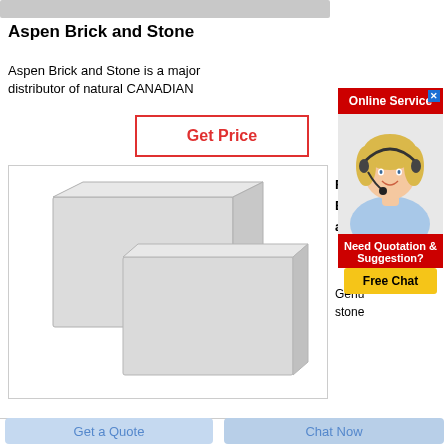[Figure (other): Gray top bar / header element]
Aspen Brick and Stone
Aspen Brick and Stone is a major distributor of natural CANADIAN
Get Price
[Figure (photo): Two white/light gray rectangular brick or stone blocks stacked/overlapping on a white background]
Rec Bric and
Genu stone
[Figure (infographic): Online Service advertisement with red header bar, close button (X), photo of blonde woman with headset smiling, red bottom panel reading 'Need Quotation & Suggestion?' and yellow 'Free Chat' button]
Get a Quote
Chat Now